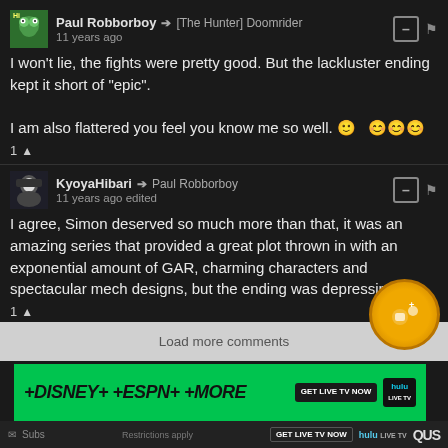Paul Robborboy → [The Hunter] Doomrider
11 years ago
I won't lie, the fights were pretty good. But the lackluster ending kept it short of "epic".

I am also flattered you feel you know me so well. 🙂 😊😊😊
1 ▲
KyoyaHibari → Paul Robborboy
11 years ago edited
I agree, Simon deserved so much more than that, it was an amazing series that provided a great plot thrown in with an exponential amount of GAR, charming characters and spectacular mech designs, but the ending was depressing
1 ▲
Load more comments
[Figure (infographic): Hulu advertisement banner: +DISNEY+ +ESPN+ +MORE with GET LIVE TV NOW button and Hulu Live TV logo on green background]
Subs... | Restrictions apply | GET LIVE TV NOW | hulu LIVE TV | QUS